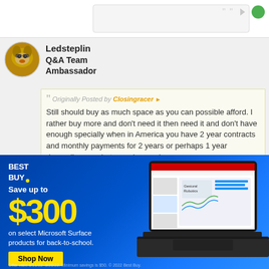[Figure (screenshot): Top navigation bar of a web forum, partially visible]
Ledsteplin
Q&A Team
Ambassador
Originally Posted by Closingracer
Still should buy as much space as you can possible afford. I rather buy more and don't need it then need it and don't have enough specially when in America you have 2 year contracts and monthly payments for 2 years or perhaps 1 year depending on what you choose. In
[Figure (screenshot): Best Buy advertisement: Save up to $300 on select Microsoft Surface products for back-to-school. Shop Now button. Image of a Microsoft Surface laptop showing a PowerPoint presentation about Gestural Robotics.]